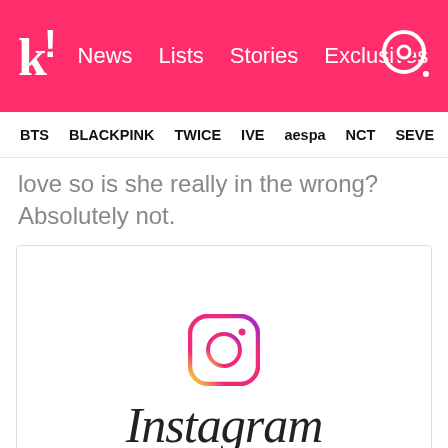k! News | Lists | Stories | Exclusives
BTS | BLACKPINK | TWICE | IVE | aespa | NCT | SEVE
love so is she really in the wrong? Absolutely not.
[Figure (logo): Instagram logo: camera icon with gradient and 'Instagram' text in cursive]